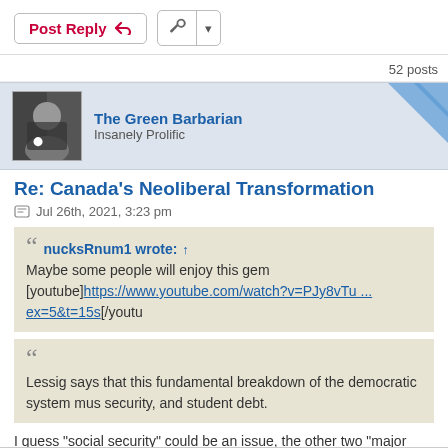Post Reply | Tools
52 posts
The Green Barbarian — Insanely Prolific
Re: Canada's Neoliberal Transformation
Jul 26th, 2021, 3:23 pm
nucksRnum1 wrote: ↑
Maybe some people will enjoy this gem
[youtube]https://www.youtube.com/watch?v=PJy8vTu ... ex=5&t=15s[/youtu
Lessig says that this fundamental breakdown of the democratic system mus security, and student debt.
I guess "social security" could be an issue, the other two "major challenges" a sell that fake narrative via the lens that if we don't make the changes as per th existed in the first place. Quite the twisted web there of fibs, lies, and total fan